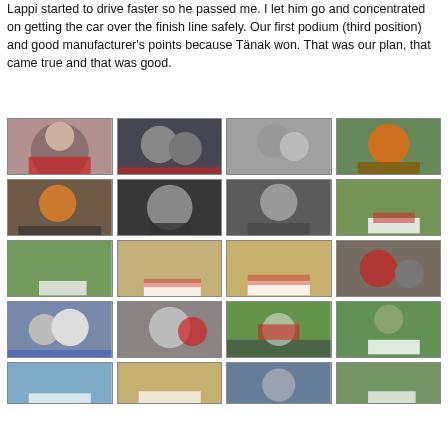Lappi started to drive faster so he passed me. I let him go and concentrated on getting the car over the finish line safely. Our first podium (third position) and good manufacturer's points because Tänak won. That was our plan, that came true and that was good.
[Figure (photo): Grid of rally racing photographs showing drivers, cars, and crowd scenes from a WRC rally event. 4 columns x 5 rows of thumbnail photos.]